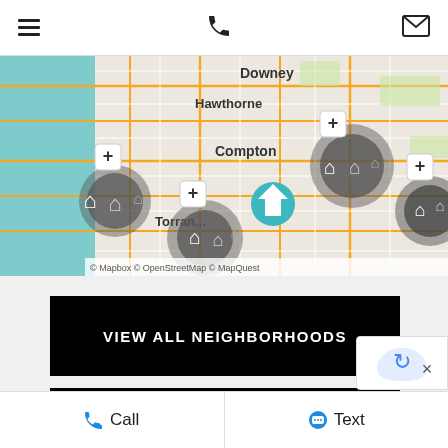Navigation header with hamburger menu, phone icon, and message/email icon
[Figure (map): Interactive map showing Los Angeles area neighborhoods including Hawthorne, Compton, Torrance, and Downey with clustered property pins and a home icon marker. Map credit: Mapbox © OpenStreetMap © MapQuest]
VIEW ALL NEIGHBORHOODS
SEARCH THE MLS
Call   Text   ×